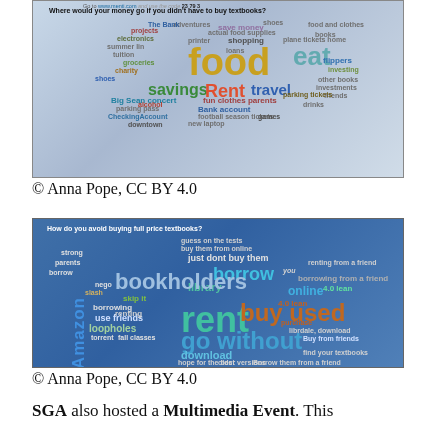[Figure (photo): Word cloud on a presentation screen showing responses to 'Where would your money go if you didn't have to buy textbooks?' with words like food, savings, Rent, travel, clothes, books, shopping, loans, etc.]
© Anna Pope, CC BY 4.0
[Figure (photo): Word cloud on a presentation screen showing responses to 'How do you avoid buying full price textbooks?' with words like rent, go without, borrow, buy used, download, library, Amazon, bookholder, loopholes, etc.]
© Anna Pope, CC BY 4.0
SGA also hosted a Multimedia Event. This